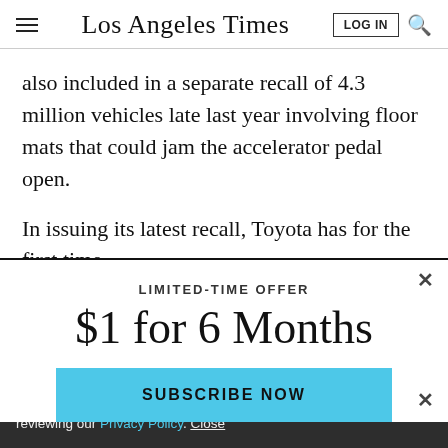Los Angeles Times
also included in a separate recall of 4.3 million vehicles late last year involving floor mats that could jam the accelerator pedal open.
In issuing its latest recall, Toyota has for the first time
LIMITED-TIME OFFER
$1 for 6 Months
SUBSCRIBE NOW
By continuing to use our site, you agree to our Terms of Service and Privacy Policy. You can learn more about how we use cookies by reviewing our Privacy Policy. Close